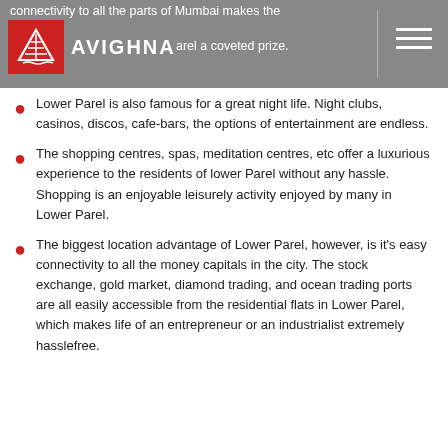connectivity to all the parts of Mumbai makes the … [Avighna logo] … arel a coveted prize.
Lower Parel is also famous for a great night life. Night clubs, casinos, discos, cafe-bars, the options of entertainment are endless.
The shopping centres, spas, meditation centres, etc offer a luxurious experience to the residents of lower Parel without any hassle. Shopping is an enjoyable leisurely activity enjoyed by many in Lower Parel.
The biggest location advantage of Lower Parel, however, is it's easy connectivity to all the money capitals in the city. The stock exchange, gold market, diamond trading, and ocean trading ports are all easily accessible from the residential flats in Lower Parel, which makes life of an entrepreneur or an industrialist extremely hasslefree.